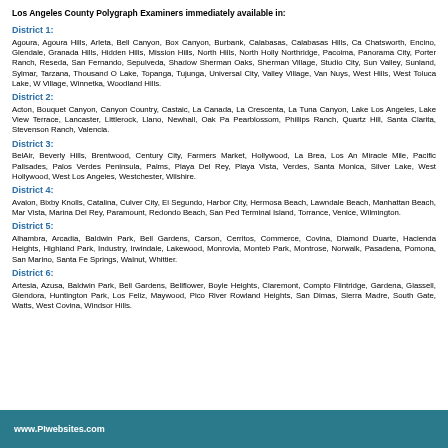Los Angeles County Polygraph Examiners immediately available in:
District 1:
Agoura, Agoura Hills, Arleta, Bell Canyon, Box Canyon, Burbank, Calabasas, Calabasas Hills, Chatsworth, Encino, Glendale, Granada Hills, Hidden Hills, Mission Hills, North Hills, North Hollywood, Northridge, Pacoima, Panorama City, Porter Ranch, Reseda, San Fernando, Sepulveda, Shadow Hills, Sherman Oaks, Sherman Village, Studio City, Sun Valley, Sunland, Sylmar, Tarzana, Thousand Oaks, Toluca Lake, Topanga, Tujunga, Universal City, Valley Village, Van Nuys, West Hills, West Toluca Lake, West Hills Village, Winnetka, Woodland Hills.
District 2:
Acton, Bouquet Canyon, Canyon Country, Castaic, La Canada, La Crescenta, La Tuna Canyon, Lake Los Angeles, Lake View Terrace, Lancaster, Littlerock, Llano, Newhall, Oak Park, Pearblossom, Phillips Ranch, Quartz Hill, Santa Clarita, Stevenson Ranch, Valencia.
District 3:
BelAir, Beverly Hills, Brentwood, Century City, Farmers Market, Hollywood, La Brea, Los Angeles, Miracle Mile, Pacific Palisades, Palos Verdes Peninsula, Palms, Playa Del Rey, Playa Vista, Palos Verdes, Santa Monica, Silver Lake, West Hollywood, West Los Angeles, Westchester, Wilshire.
District 4:
Avalon, Bixby Knolls, Catalina, Culver City, El Segundo, Harbor City, Hermosa Beach, Lawndale, Long Beach, Manhattan Beach, Mar Vista, Marina Del Rey, Paramount, Redondo Beach, San Pedro, Terminal Island, Torrance, Venice, Wilmington.
District 5:
Alhambra, Arcadia, Baldwin Park, Bell Gardens, Carson, Cerritos, Commerce, Covina, Diamond Bar, Duarte, Hacienda Heights, Highland Park, Industry, Irwindale, Lakewood, Monrovia, Montebello, Monterey Park, Montrose, Norwalk, Pasadena, Pomona, San Marino, Santa Fe Springs, Walnut, Whittier.
District 6:
Artesia, Azusa, Baldwin Park, Bell Gardens, Bellflower, Boyle Heights, Claremont, Compton, Flintridge, Gardena, Glassell, Glendora, Huntington Park, Los Feliz, Maywood, Pico Rivera, Rowland Heights, San Dimas, Sierra Madre, South Gate, Watts, West Covina, Windsor Hills.
www.PIwebsites.com